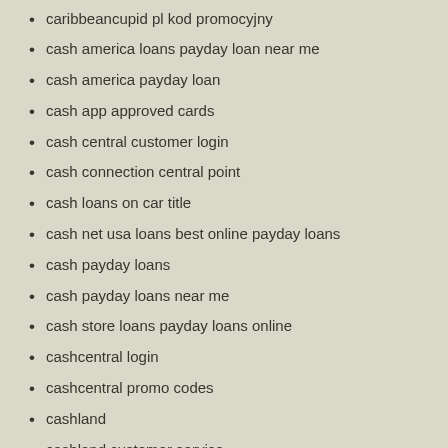caribbeancupid pl kod promocyjny
cash america loans payday loan near me
cash america payday loan
cash app approved cards
cash central customer login
cash connection central point
cash loans on car title
cash net usa loans best online payday loans
cash payday loans
cash payday loans near me
cash store loans payday loans online
cashcentral login
cashcentral promo codes
cashland
cashland customer service